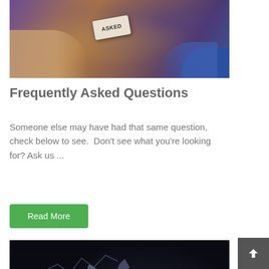[Figure (photo): Hands holding a price tag labeled 'ASKED' over a wooden desk with papers]
Frequently Asked Questions
Someone else may have had that same question, check below to see.  Don't see what you're looking for? Ask us ...
Read More
[Figure (photo): Dark background with glowing data charts, pie charts, bar graphs, and a person reading a glowing book]